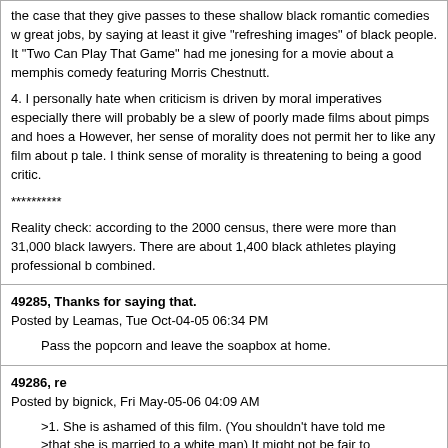the case that they give passes to these shallow black romantic comedies with great jobs, by saying at least it give "refreshing images" of black people. It "Two Can Play That Game" had me jonesing for a movie about a memphis comedy featuring Morris Chestnutt.

4. I personally hate when criticism is driven by moral imperatives especially there will probably be a slew of poorly made films about pimps and hoes a However, her sense of morality does not permit her to like any film about p tale. I think sense of morality is threatening to being a good critic.

**********

Reality check: according to the 2000 census, there were more than 31,000 black lawyers. There are about 1,400 black athletes playing professional b combined.
49285, Thanks for saying that.
Posted by Leamas, Tue Oct-04-05 06:34 PM

Pass the popcorn and leave the soapbox at home.
49286, re
Posted by bignick, Fri May-05-06 04:09 AM

>1. She is ashamed of this film. (You shouldn't have told me
>that she is married to a white man) It might not be fair to
>say, but I would guess she is ashamed of black people who live
>like this. You know the thought of watching this with her
>husband makes her skin crawl.